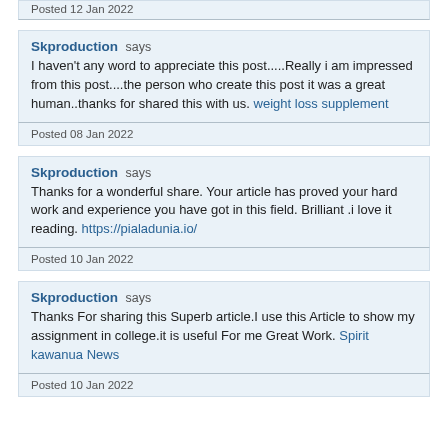Posted 12 Jan 2022
Skproduction says
I haven't any word to appreciate this post.....Really i am impressed from this post....the person who create this post it was a great human..thanks for shared this with us. weight loss supplement
Posted 08 Jan 2022
Skproduction says
Thanks for a wonderful share. Your article has proved your hard work and experience you have got in this field. Brilliant .i love it reading. https://pialadunia.io/
Posted 10 Jan 2022
Skproduction says
Thanks For sharing this Superb article.I use this Article to show my assignment in college.it is useful For me Great Work. Spirit kawanua News
Posted 10 Jan 2022